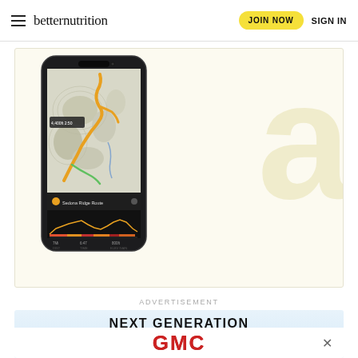betternutrition | JOIN NOW | SIGN IN
[Figure (screenshot): A smartphone displaying a hiking trail map app (Gaia GPS or similar) showing a topographic route map with an orange/yellow trail highlighted, along with an elevation profile at the bottom. The phone is shown against a light cream background with a large faint 'a' or 'Q' watermark letter.]
ADVERTISEMENT
[Figure (screenshot): Advertisement banner showing 'NEXT GENERATION' text in bold black on a light blue/white background, partially overlapped by a GMC logo advertisement banner at the bottom with a close button.]